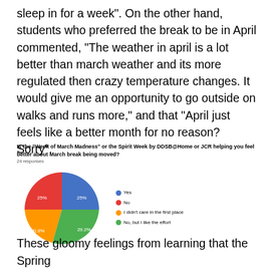sleep in for a week". On the other hand, students who preferred the break to be in April commented, “The weather in april is a lot better than march weather and its more regulated then crazy temperature changes. It would give me an opportunity to go outside on walks and runs more,” and that “April just feels like a better month for no reason? Sorry”.
[Figure (pie-chart): Is the "Week of March Madness" or the Spirit Week by DDSB@Home or JCR helping you feel better about March break being moved?]
These gloomy feelings from learning that the Spring